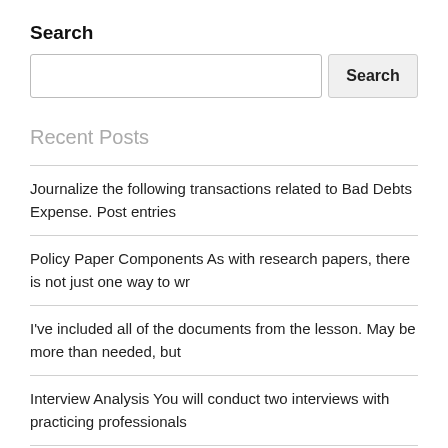Search
[Figure (other): Search input box with a Search button]
Recent Posts
Journalize the following transactions related to Bad Debts Expense. Post entries
Policy Paper Components As with research papers, there is not just one way to wr
I've included all of the documents from the lesson. May be more than needed, but
Interview Analysis You will conduct two interviews with practicing professionals